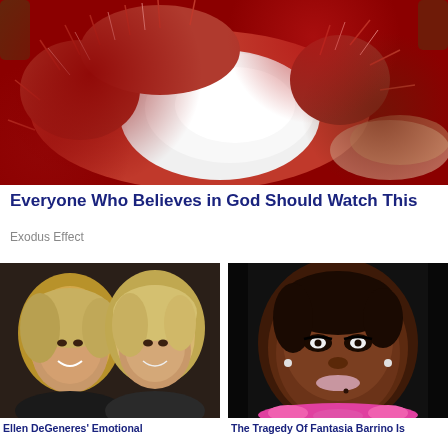[Figure (photo): Close-up photo of a rambutan fruit being held open, showing white interior flesh against red spiky exterior]
Everyone Who Believes in God Should Watch This
Exodus Effect
[Figure (photo): Photo of two blonde women smiling together, Ellen DeGeneres and Anne Heche]
Ellen DeGeneres' Emotional
[Figure (photo): Close-up portrait photo of Fantasia Barrino smiling, wearing pink accessories]
The Tragedy Of Fantasia Barrino Is